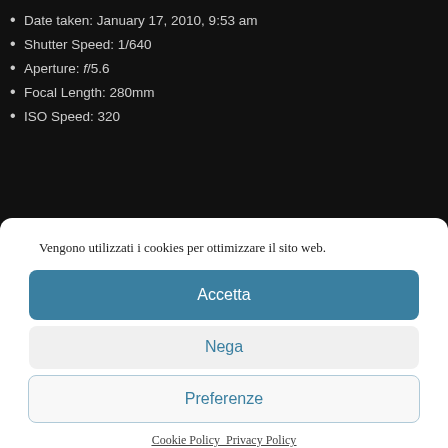Date taken: January 17, 2010, 9:53 am
Shutter Speed: 1/640
Aperture: f/5.6
Focal Length: 280mm
ISO Speed: 320
[Figure (photo): Partial view of a sky/horizon photograph behind a cookie consent modal overlay]
Vengono utilizzati i cookies per ottimizzare il sito web.
Accetta
Nega
Preferenze
Cookie Policy  Privacy Policy